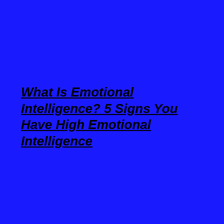What Is Emotional Intelligence? 5 Signs You Have High Emotional Intelligence